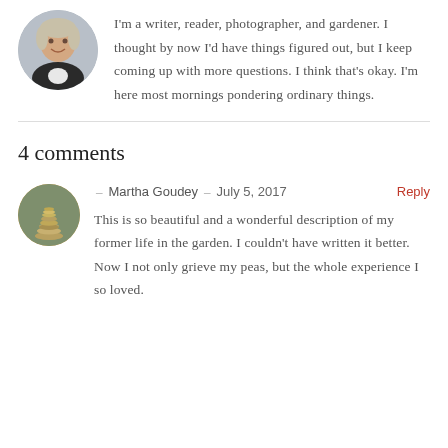[Figure (photo): Circular avatar photo of a woman with short blonde hair wearing a dark jacket]
I'm a writer, reader, photographer, and gardener. I thought by now I'd have things figured out, but I keep coming up with more questions. I think that's okay. I'm here most mornings pondering ordinary things.
4 comments
[Figure (photo): Circular avatar photo showing stacked coins or stones outdoors]
- Martha Goudey - July 5, 2017   Reply
This is so beautiful and a wonderful description of my former life in the garden. I couldn't have written it better. Now I not only grieve my peas, but the whole experience I so loved.